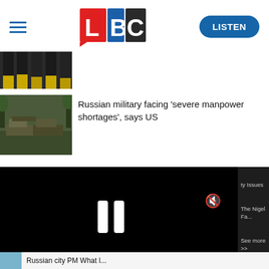LBC - LISTEN
[Figure (photo): Thumbnail image of people in uniform (partial view, dark clothing with yellow accents)]
[Figure (photo): Thumbnail image of destroyed/abandoned military tanks in a field]
Russian military facing 'severe manpower shortages', says US
[Figure (screenshot): Black video player overlay with pause icon and mute button, progress bar at bottom]
ty Issues
The Nigel Fa...
See more >>
Russian city PM What l...